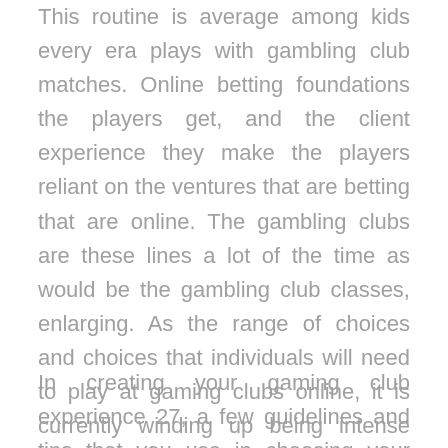This routine is average among kids every era plays with gambling club matches. Online betting foundations the players get, and the client experience they make the players reliant on the ventures that are betting that are online. The gambling clubs are these lines a lot of the time as would be the gambling club classes, enlarging. As the range of choices and choices that individuals will need to play at gaming clubs online, it is currently winding up being intense and overpowering to play at an internet club.
In creating your gaming club experience 27, a few guidelines and tips that you use in choosing your club